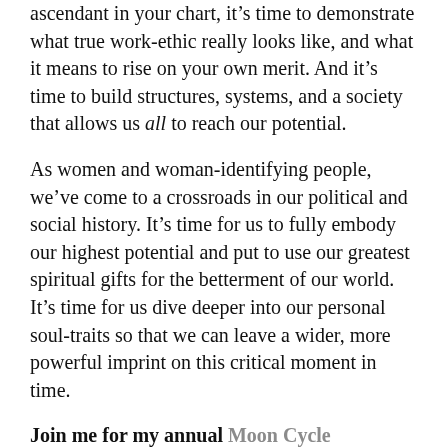ascendant in your chart, it's time to demonstrate what true work-ethic really looks like, and what it means to rise on your own merit. And it's time to build structures, systems, and a society that allows us all to reach our potential.
As women and woman-identifying people, we've come to a crossroads in our political and social history. It's time for us to fully embody our highest potential and put to use our greatest spiritual gifts for the betterment of our world. It's time for us dive deeper into our personal soul-traits so that we can leave a wider, more powerful imprint on this critical moment in time.
Join me for my annual Moon Cycle Embodiment Challenge starting on November 7th. The very next day, Jupiter, the planet of good luck, good fortune and abundance enters into Sagittarius, we'll begin. You'll learn how to harness the 28-day